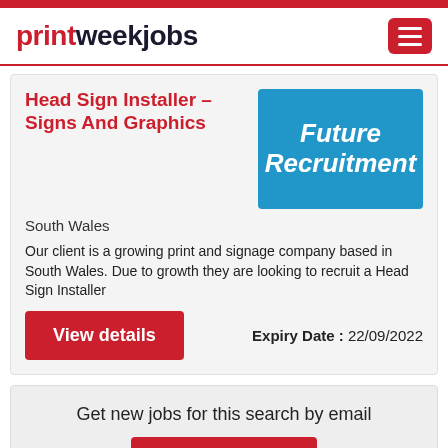printweekjobs
Head Sign Installer – Signs And Graphics
[Figure (logo): Future Recruitment company logo — white italic bold text on blue rectangle background]
South Wales
Our client is a growing print and signage company based in South Wales. Due to growth they are looking to recruit a Head Sign Installer
Expiry Date : 22/09/2022
View details
Get new jobs for this search by email
Email jobs